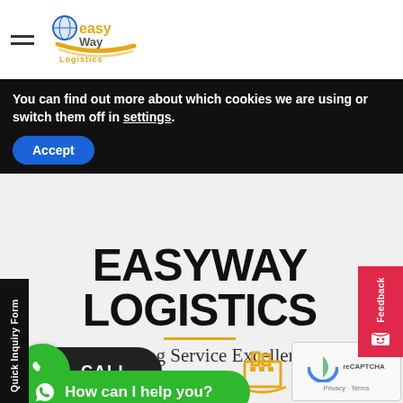[Figure (logo): Easy Logistics Way logo with globe icon and stylized text]
You can find out more about which cookies we are using or switch them off in settings.
Accept
Quick Inquiry Form
EASYWAY LOGISTICS
Delivering Service Excellence
CALL
How can I help you?
Feedback
Privacy · Terms